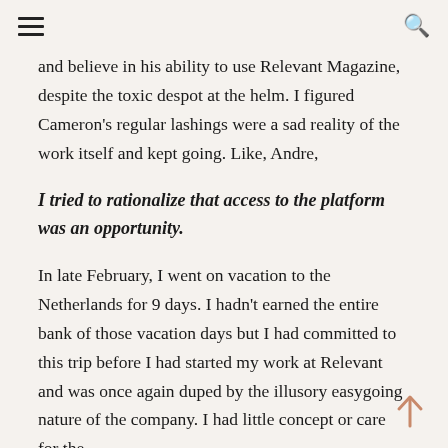≡  🔍
and believe in his ability to use Relevant Magazine, despite the toxic despot at the helm. I figured Cameron's regular lashings were a sad reality of the work itself and kept going. Like, Andre,
I tried to rationalize that access to the platform was an opportunity.
In late February, I went on vacation to the Netherlands for 9 days. I hadn't earned the entire bank of those vacation days but I had committed to this trip before I had started my work at Relevant and was once again duped by the illusory easygoing nature of the company. I had little concept or care for the